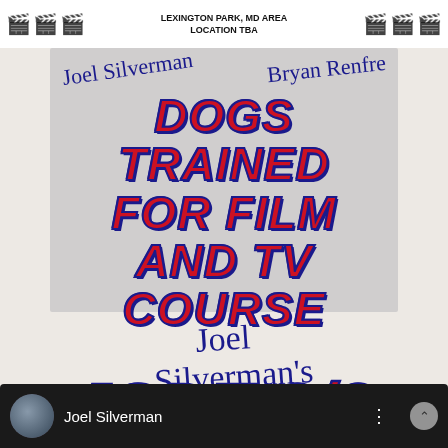LEXINGTON PARK, MD AREA
LOCATION TBA
[Figure (illustration): Gray banner box with signatures of Joel Silverman and Bryan Renfre at top, then large bold red italic text reading DOGS TRAINED FOR FILM AND TV COURSE]
[Figure (illustration): Script cursive text reading Joel Silverman's in blue]
JSDT-2/3
[Figure (screenshot): Dark video strip at bottom showing avatar circle and text Joel Silverman]